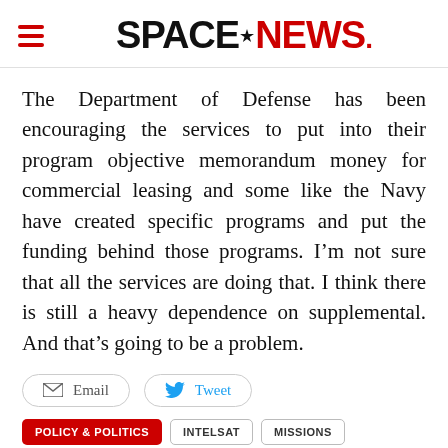SPACENEWS
The Department of Defense has been encouraging the services to put into their program objective memorandum money for commercial leasing and some like the Navy have created specific programs and put the funding behind those programs. I’m not sure that all the services are doing that. I think there is still a heavy dependence on supplemental. And that’s going to be a problem.
Email | Tweet
POLICY & POLITICS | INTELSAT | MISSIONS | PEOPLE
[Figure (logo): SPACE-COMM advertisement banner with circular gradient logo on dark background]